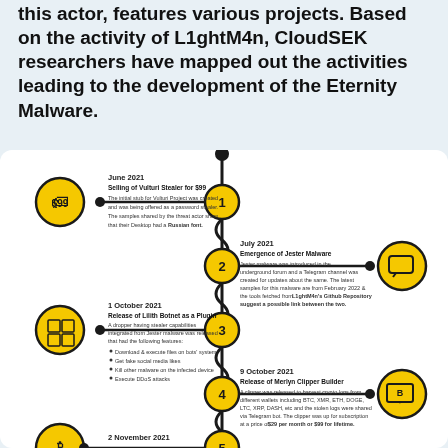this actor, features various projects. Based on the activity of L1ghtM4n, CloudSEK researchers have mapped out the activities leading to the development of the Eternity Malware.
[Figure (infographic): A vertical timeline infographic showing the development of Eternity Malware by threat actor L1ghtM4n. The timeline has numbered nodes (1-5) on a central vertical line, with alternating left/right event panels. Events include: 1-June 2021: Selling of Vulturi Stealer for $99; 2-July 2021: Emergence of Jester Malware; 3-1 October 2021: Release of Lilith Botnet as a Plugin; 4-9 October 2021: Release of Merlyn Clipper Builder; 5-2 November 2021 (partially visible). Each event has an icon circle on the outer side and a descriptive text panel.]